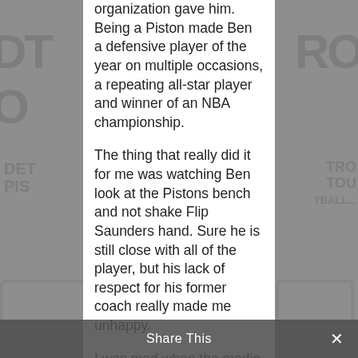[Figure (other): Blurred Detroit Pistons logo background on left and right sides of the page]
organization gave him. Being a Piston made Ben a defensive player of the year on multiple occasions, a repeating all-star player and winner of an NBA championship.

The thing that really did it for me was watching Ben look at the Pistons bench and not shake Flip Saunders hand. Sure he is still close with all of the player, but his lack of respect for his former coach really made me unhappy.

I was mad when the media asked fans to boo him, or
Share This ✕